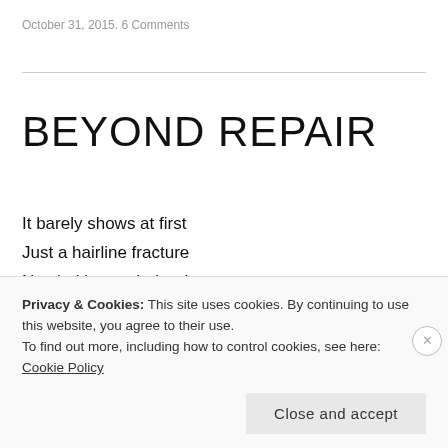October 31, 2015. 6 Comments
BEYOND REPAIR
It barely shows at first
Just a hairline fracture
Nestled beneath the rim
The slow erosion over time
Overuse making it's mark
Privacy & Cookies: This site uses cookies. By continuing to use this website, you agree to their use.
To find out more, including how to control cookies, see here: Cookie Policy
Close and accept